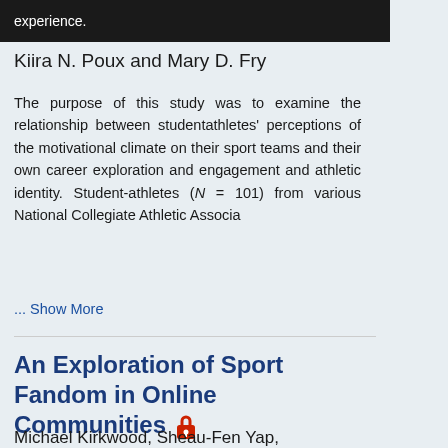experience.
Kiira N. Poux and Mary D. Fry
The purpose of this study was to examine the relationship between studentathletes' perceptions of the motivational climate on their sport teams and their own career exploration and engagement and athletic identity. Student-athletes (N = 101) from various National Collegiate Athletic Associa ... Show More
An Exploration of Sport Fandom in Online Communities
Michael Kirkwood, Sheau-Fen Yap,